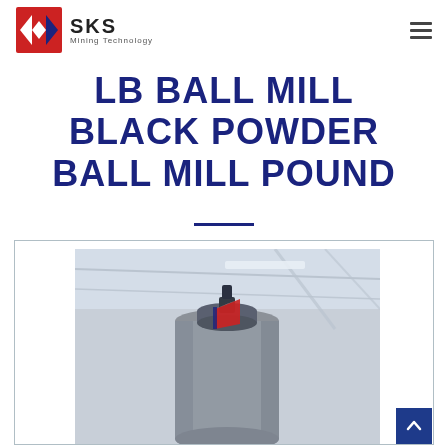SKS Mining Technology
LB BALL MILL BLACK POWDER BALL MILL POUND
[Figure (photo): A cylindrical ball mill machine photographed in an industrial setting with a warehouse ceiling visible in the background. The mill has a red and white decorative element near the top.]